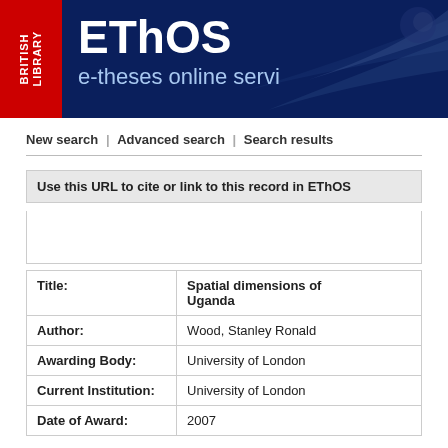[Figure (logo): British Library EThOS e-theses online service header banner with red BL logo on left and blue background with EThOS title]
New search | Advanced search | Search results
Use this URL to cite or link to this record in EThOS:
| Field | Value |
| --- | --- |
| Title: | Spatial dimensions of ... Uganda |
| Author: | Wood, Stanley Ronald |
| Awarding Body: | University of London |
| Current Institution: | University of London |
| Date of Award: | 2007 |